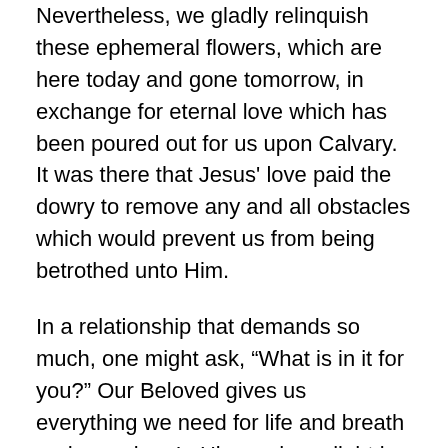Nevertheless, we gladly relinquish these ephemeral flowers, which are here today and gone tomorrow, in exchange for eternal love which has been poured out for us upon Calvary. It was there that Jesus' love paid the dowry to remove any and all obstacles which would prevent us from being betrothed unto Him.
In a relationship that demands so much, one might ask, “What is in it for you?” Our Beloved gives us everything we need for life and breath and meaning. In Him we have light in the darkest of nights, warmth on the coldest of days, hope in midst of hopelessness, strength when we are too weak to stand, vision for eyes shrouded in darkness, love for the unlovely, forgiveness for the most egregious of sinners, rest for the weary, food for the hungry, and oh so much more. He is our Redeemer, our Sacrifice, our